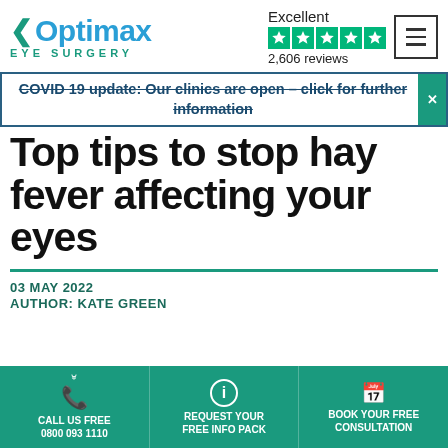[Figure (logo): Optimax Eye Surgery logo with teal arrow and blue 'Optimax' text]
[Figure (other): Trustpilot rating: Excellent, 5 green stars, 2,606 reviews]
COVID 19 update: Our clinics are open – click for further information
Top tips to stop hay fever affecting your eyes
03 MAY 2022
AUTHOR: KATE GREEN
CALL US FREE
0800 093 1110
REQUEST YOUR FREE INFO PACK
BOOK YOUR FREE CONSULTATION